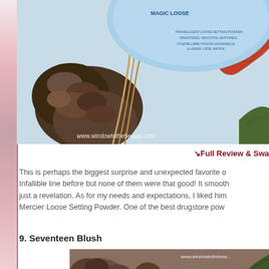[Figure (photo): Close-up photo of a cosmetic powder product (magic loose setting powder) on a natural background with pine cone, leaves and feathers. Watermark: www.windowtothebeauty.com]
↘Full Review & Swa
This is perhaps the biggest surprise and unexpected favorite o... Infallible line before but none of them were that good! It smooth... just a revelation. As for my needs and expectations, I liked him... Mercier Loose Setting Powder. One of the best drugstore pow...
9. Seventeen Blush
[Figure (photo): Photo of Seventeen Blush product with natural background, pine cones and fern leaves. Watermark: www.windowtothebea...]